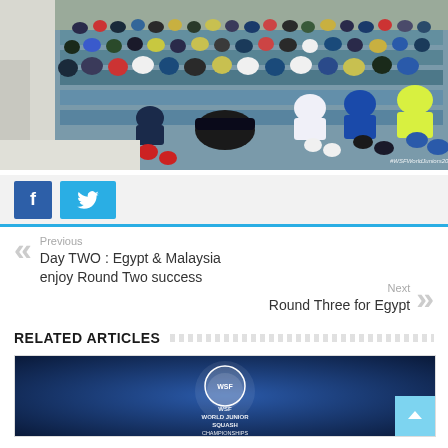[Figure (photo): Crowd of young athletes/spectators sitting in blue bleacher seats at what appears to be a squash tournament venue. Watermark reads #WSFWorldJuniors2019.]
[Figure (screenshot): Social sharing buttons: Facebook (blue) and Twitter (light blue) buttons]
Previous
Day TWO : Egypt & Malaysia enjoy Round Two success
Next
Round Three for Egypt
RELATED ARTICLES
[Figure (photo): WSF World Junior Squash Championships promotional/header image with blue background and logo]